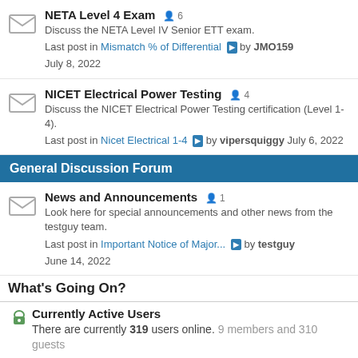NETA Level 4 Exam 6 — Discuss the NETA Level IV Senior ETT exam. Last post in Mismatch % of Differential by JMO159 July 8, 2022
NICET Electrical Power Testing 4 — Discuss the NICET Electrical Power Testing certification (Level 1-4). Last post in Nicet Electrical 1-4 by vipersquiggy July 6, 2022
General Discussion Forum
News and Announcements 1 — Look here for special announcements and other news from the testguy team. Last post in Important Notice of Major... by testguy June 14, 2022
What's Going On?
Currently Active Users — There are currently 319 users online. 9 members and 310 guests